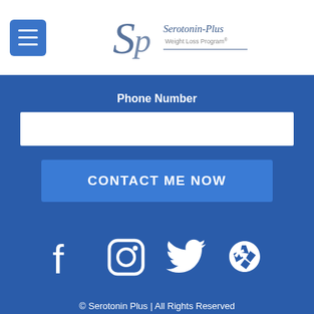[Figure (logo): Serotonin-Plus Weight Loss Program logo with stylized Sp monogram]
Phone Number
CONTACT ME NOW
[Figure (illustration): Social media icons: Facebook, Instagram, Twitter, Yelp]
© Serotonin Plus | All Rights Reserved
Privacy Policy | Terms and Conditions